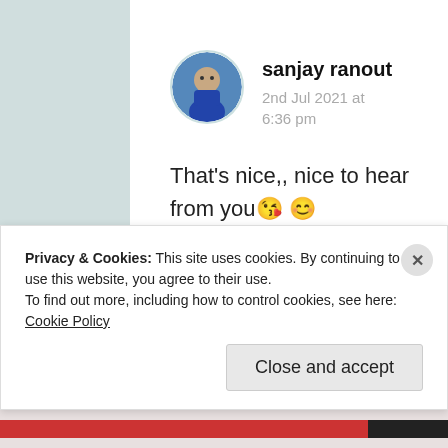sanjay ranout
2nd Jul 2021 at 6:36 pm
That's nice,, nice to hear from you😚😊
★ Liked by 4 people
Privacy & Cookies: This site uses cookies. By continuing to use this website, you agree to their use.
To find out more, including how to control cookies, see here: Cookie Policy
Close and accept